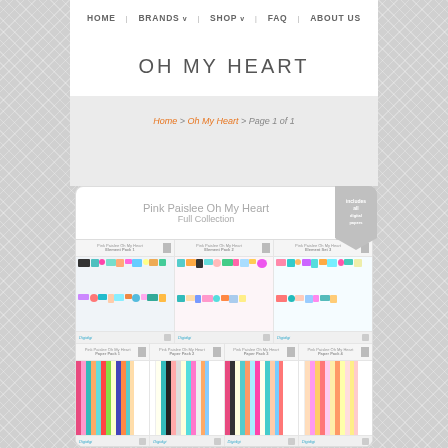HOME   BRANDS v   SHOP v   FAQ   ABOUT US
OH MY HEART
Home > Oh My Heart > Page 1 of 1
[Figure (screenshot): Pink Paislee Oh My Heart Full Collection product grid showing element packs and paper packs with colorful scrapbooking items]
Pink Paislee Oh My Heart Full Collection